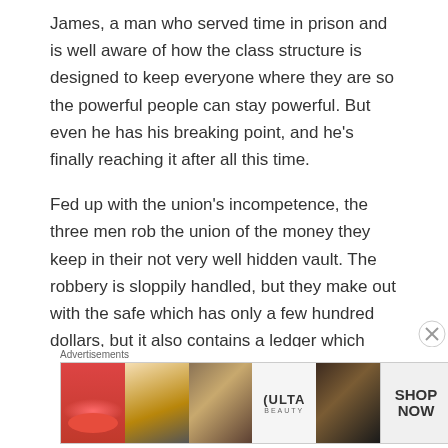James, a man who served time in prison and is well aware of how the class structure is designed to keep everyone where they are so the powerful people can stay powerful. But even he has his breaking point, and he’s finally reaching it after all this time.
Fed up with the union’s incompetence, the three men rob the union of the money they keep in their not very well hidden vault. The robbery is sloppily handled, but they make out with the safe which has only a few hundred dollars, but it also contains a ledger which
Advertisements
[Figure (photo): Advertisement banner for ULTA beauty products featuring close-up photos of lips, makeup brush, eye, ULTA logo, another eye, and a SHOP NOW call to action button]